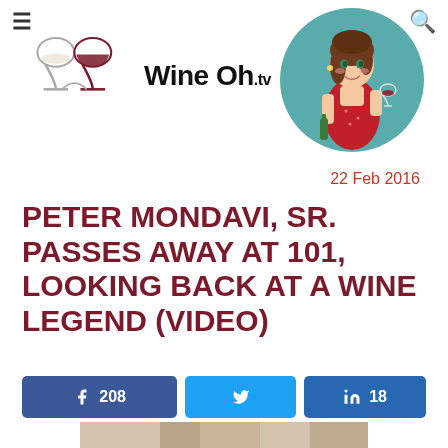[Figure (logo): Wine Oh TV logo with two wine glasses and text 'Wine Oh.tv']
[Figure (illustration): Cartoon illustration of a woman in a red dress holding a wine bottle and a wine glass, inside a teal circle]
22 Feb 2016
PETER MONDAVI, SR. PASSES AWAY AT 101, LOOKING BACK AT A WINE LEGEND (VIDEO)
[Figure (infographic): Social share buttons: Facebook 208, Twitter (no count), LinkedIn 18]
[Figure (photo): Partial photo at bottom of page, appears to be an interior/building image]